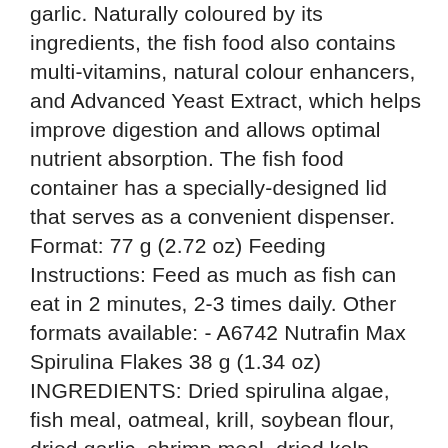garlic. Naturally coloured by its ingredients, the fish food also contains multi-vitamins, natural colour enhancers, and Advanced Yeast Extract, which helps improve digestion and allows optimal nutrient absorption. The fish food container has a specially-designed lid that serves as a convenient dispenser. Format: 77 g (2.72 oz) Feeding Instructions: Feed as much as fish can eat in 2 minutes, 2-3 times daily. Other formats available: - A6742 Nutrafin Max Spirulina Flakes 38 g (1.34 oz) INGREDIENTS: Dried spirulina algae, fish meal, oatmeal, krill, soybean flour, dried garlic, shrimp meal, dried kelp, squid liver meal, fish liver meal, dried yeast, wheat germ meal, salmon oil (ethoxyquin used as preservative), flaxseed oil, vitamins (cholecalciferol, biotin, d-calcium pantothenate, folic acid, inositol, niacin supplement, riboflavin-5-phosphate, calcium L-ascorbyl-2-monophosphate, vitamin A acetate, thiamine hydrochloride, vitamin B12 supplement, pyridoxine hydrochloride, vitamin E supplement, menadione sodium bisulfite complex (source of vitamin